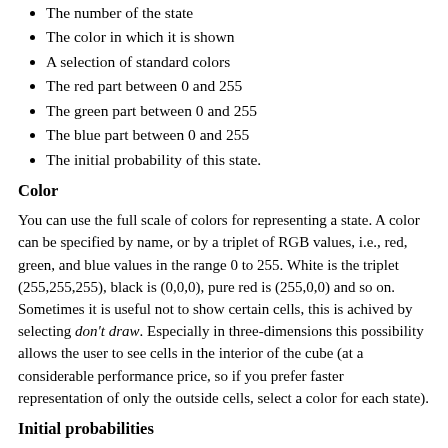The number of the state
The color in which it is shown
A selection of standard colors
The red part between 0 and 255
The green part between 0 and 255
The blue part between 0 and 255
The initial probability of this state.
Color
You can use the full scale of colors for representing a state. A color can be specified by name, or by a triplet of RGB values, i.e., red, green, and blue values in the range 0 to 255. White is the triplet (255,255,255), black is (0,0,0), pure red is (255,0,0) and so on. Sometimes it is useful not to show certain cells, this is achived by selecting don't draw. Especially in three-dimensions this possibility allows the user to see cells in the interior of the cube (at a considerable performance price, so if you prefer faster representation of only the outside cells, select a color for each state).
Initial probabilities
CASimFrame can initialize the lattice with different states according to given probabilities. Enter probabilities between 0.0